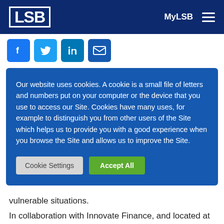LSB  MyLSB  ≡
[Figure (other): Social media icons row: Facebook, Twitter, LinkedIn, Email]
Our website uses cookies. A cookie is a small file of letters and numbers put on your computer or the device that you use to access our Site. Cookies have many uses, for example to distinguish you from other users of the Site which helps us to provide you with a good experience when you browse the Site and allows us to improve the Site.
Cookie Settings  Accept All
vulnerable situations.
In collaboration with Innovate Finance, and located at Capital One's Tech City offices, we hosted our third